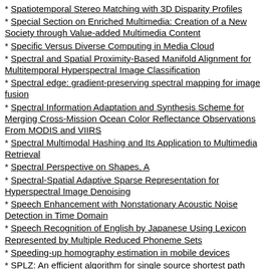* Spatiotemporal Stereo Matching with 3D Disparity Profiles
* Special Section on Enriched Multimedia: Creation of a New Society through Value-added Multimedia Content
* Specific Versus Diverse Computing in Media Cloud
* Spectral and Spatial Proximity-Based Manifold Alignment for Multitemporal Hyperspectral Image Classification
* Spectral edge: gradient-preserving spectral mapping for image fusion
* Spectral Information Adaptation and Synthesis Scheme for Merging Cross-Mission Ocean Color Reflectance Observations From MODIS and VIIRS
* Spectral Multimodal Hashing and Its Application to Multimedia Retrieval
* Spectral Perspective on Shapes, A
* Spectral-Spatial Adaptive Sparse Representation for Hyperspectral Image Denoising
* Speech Enhancement with Nonstationary Acoustic Noise Detection in Time Domain
* Speech Recognition of English by Japanese Using Lexicon Represented by Multiple Reduced Phoneme Sets
* Speeding-up homography estimation in mobile devices
* SPLZ: An efficient algorithm for single source shortest path problem using compression method
* Spotlight the Negatives: A Generalized Discriminative Latent Model